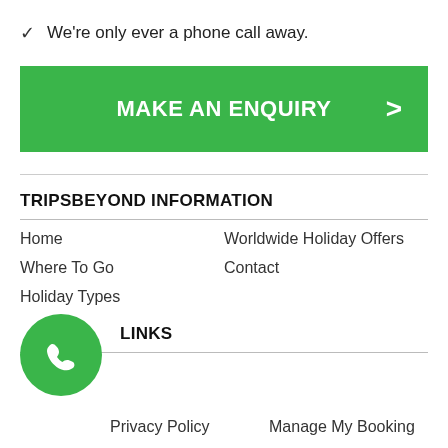✓  We're only ever a phone call away.
[Figure (other): Green 'MAKE AN ENQUIRY' button with right arrow chevron]
TRIPSBEYOND INFORMATION
Home | Worldwide Holiday Offers | Where To Go | Contact | Holiday Types
QUICK LINKS
[Figure (other): Green circular phone icon button]
Privacy Policy | Manage My Booking